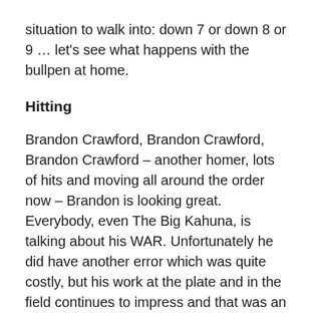situation to walk into: down 7 or down 8 or 9 … let's see what happens with the bullpen at home.
Hitting
Brandon Crawford, Brandon Crawford, Brandon Crawford – another homer, lots of hits and moving all around the order now – Brandon is looking great. Everybody, even The Big Kahuna, is talking about his WAR. Unfortunately he did have another error which was quite costly, but his work at the plate and in the field continues to impress and that was an anomaly.
Crawford and Sandoval have 10 game hitting streaks coming into the home stand against the Padres this weekend. Hunter Pence and Pagan are hitting well. Blanco is hot and cold after a day of horribly bad luck on